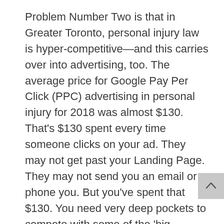Problem Number Two is that in Greater Toronto, personal injury law is hyper-competitive—and this carries over into advertising, too. The average price for Google Pay Per Click (PPC) advertising in personal injury for 2018 was almost $130. That's $130 spent every time someone clicks on your ad. They may not get past your Landing Page. They may not send you an email or phone you. But you've spent that $130. You need very deep pockets to compete with some of the 'big gorillas' in personal injury in Toronto.
In Jasmine Daya's favour, she is a